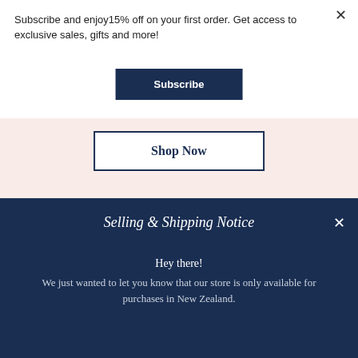Subscribe and enjoy15% off on your first order. Get access to exclusive sales, gifts and more!
Subscribe
[Figure (screenshot): Pink background section with a 'Shop Now' button outlined in dark navy]
Shop Now
Selling & Shipping Notice
Hey there!
We just wanted to let you know that our store is only available for purchases in New Zealand.